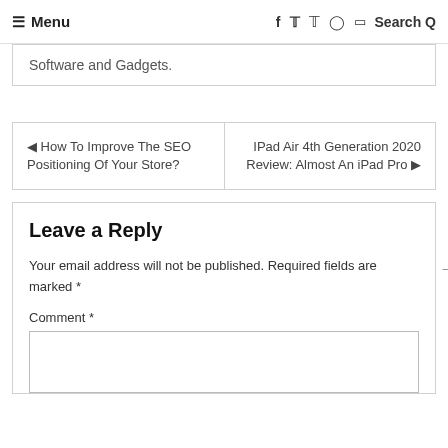≡ Menu  f  ✓  P  ○  in  Search Q
Software and Gadgets.
◄ How To Improve The SEO Positioning Of Your Store?  |  IPad Air 4th Generation 2020 Review: Almost An iPad Pro ►
Leave a Reply
Your email address will not be published. Required fields are marked *
Comment *